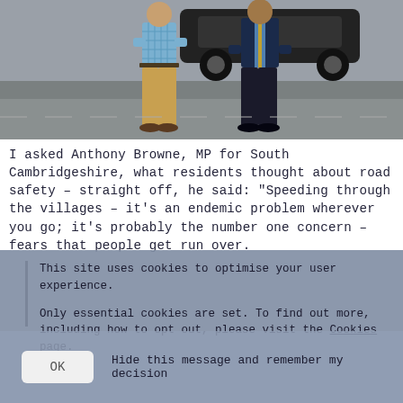[Figure (photo): Two men standing on a road/pavement. One wearing a checked shirt and tan trousers, the other in a dark suit. A dark car is visible in the background.]
I asked Anthony Browne, MP for South Cambridgeshire, what residents thought about road safety – straight off, he said: "Speeding through the villages – it's an endemic problem wherever you go; it's probably the number one concern – fears that people get run over.
This site uses cookies to optimise your user experience.
Only essential cookies are set. To find out more, including how to opt out, please visit the Cookies page.
Hide this message and remember my decision